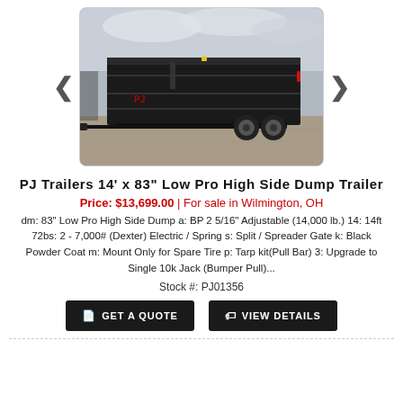[Figure (photo): Black PJ Trailers dump trailer parked on gravel lot, outdoor daytime photo]
PJ Trailers 14' x 83" Low Pro High Side Dump Trailer
Price: $13,699.00 | For sale in Wilmington, OH
dm: 83" Low Pro High Side Dump a: BP 2 5/16" Adjustable (14,000 lb.) 14: 14ft 72bs: 2 - 7,000# (Dexter) Electric / Spring s: Split / Spreader Gate k: Black Powder Coat m: Mount Only for Spare Tire p: Tarp kit(Pull Bar) 3: Upgrade to Single 10k Jack (Bumper Pull)...
Stock #: PJ01356